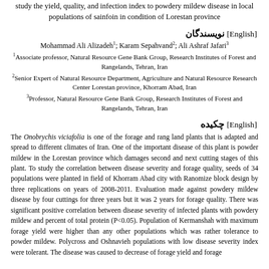study the yield, quality, and infection index to powdery mildew disease in local populations of sainfoin in condition of Lorestan province
نویسندگان [English]
Mohammad Ali Alizadeh1; Karam Sepahvand2; Ali Ashraf Jafari3
1Associate professor, Natural Resource Gene Bank Group, Research Institutes of Forest and Rangelands, Tehran, Iran
2Senior Expert of Natural Resource Department, Agriculture and Natural Resource Research Center Lorestan province, Khorram Abad, Iran
3Professor, Natural Resource Gene Bank Group, Research Institutes of Forest and Rangelands, Tehran, Iran
چکیده [English]
The Onobrychis viciafolia is one of the forage and rang land plants that is adapted and spread to different climates of Iran. One of the important disease of this plant is powder mildew in the Lorestan province which damages second and next cutting stages of this plant. To study the correlation between disease severity and forage quality, seeds of 34 populations were planted in field of Khorram Abad city with Ranomize block design by three replications on years of 2008-2011. Evaluation made against powdery mildew disease by four cuttings for three years but it was 2 years for forage quality. There was significant positive correlation between disease severity of infected plants with powdery mildew and percent of total protein (P<0.05). Population of Kermanshah with maximum forage yield were higher than any other populations which was rather tolerance to powder mildew. Polycross and Oshnavieh populations with low disease severity index were tolerant. The disease was caused to decrease of forage yield and forage